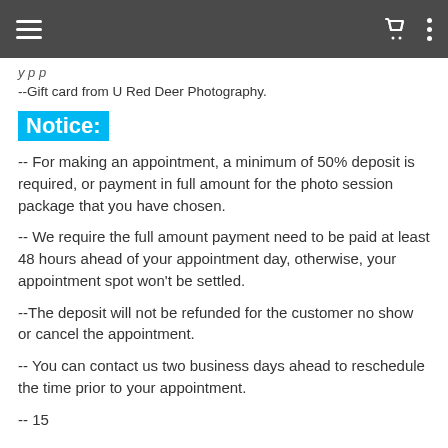Navigation bar with hamburger menu, cart icon, and dots menu
y p p
--Gift card from U Red Deer Photography.
Notice:
-- For making an appointment, a minimum of 50% deposit is required, or payment in full amount for the photo session package that you have chosen.
-- We require the full amount payment need to be paid at least 48 hours ahead of your appointment day, otherwise, your appointment spot won't be settled.
--The deposit will not be refunded for the customer no show or cancel the appointment.
-- You can contact us two business days ahead to reschedule the time prior to your appointment.
-- 15 ...